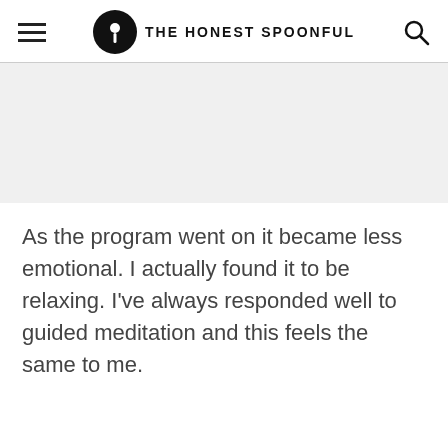THE HONEST SPOONFUL
[Figure (other): Gray advertisement placeholder block]
As the program went on it became less emotional. I actually found it to be relaxing. I’ve always responded well to guided meditation and this feels the same to me.